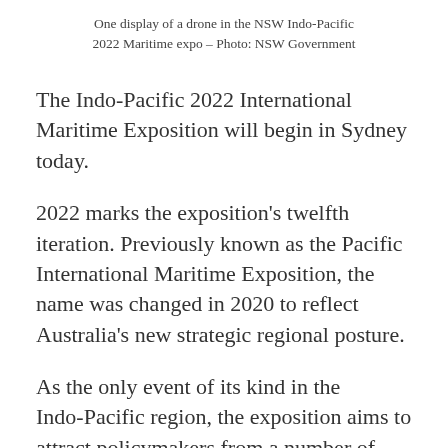One display of a drone in the NSW Indo-Pacific 2022 Maritime expo – Photo: NSW Government
The Indo-Pacific 2022 International Maritime Exposition will begin in Sydney today.
2022 marks the exposition's twelfth iteration. Previously known as the Pacific International Maritime Exposition, the name was changed in 2020 to reflect Australia's new strategic regional posture.
As the only event of its kind in the Indo-Pacific region, the exposition aims to attract policymakers from a number of regional naval powers and from across the world. The exposition